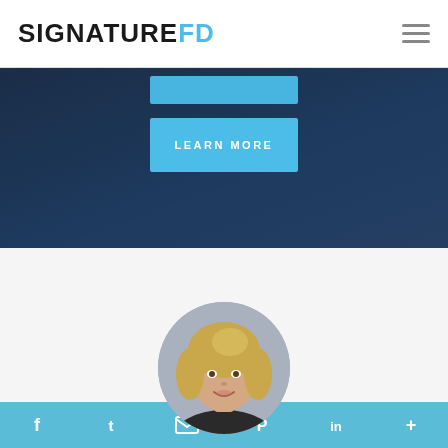SIGNATUREFD
[Figure (screenshot): Dark blue hero section with a light blue 'LEARN MORE' button]
Meet The SIGNATUREPRO Utility Team
[Figure (photo): Circular headshot portrait of a woman with blonde hair, smiling, wearing dark clothing against a grey background]
Social media links: Facebook, Twitter, Email, Pinterest, LinkedIn, More